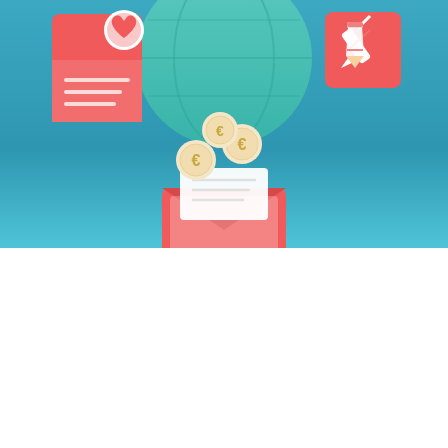[Figure (illustration): Top illustration section with teal/blue gradient background showing three icons: a red document with heart icon on the left, a teal globe/circle icon in the center top, a red pencil/edit icon on the right, and a large red envelope with coins (currency symbols) floating above it in the center.]
With Tithe.ly, the price stays fixed and won't increase over time as your church grows. Tithe.ly Church Management is an all-in-one, cost-effective, and easy to use alternative to Planning Center. Get a detailed comparison to Planning Center below.